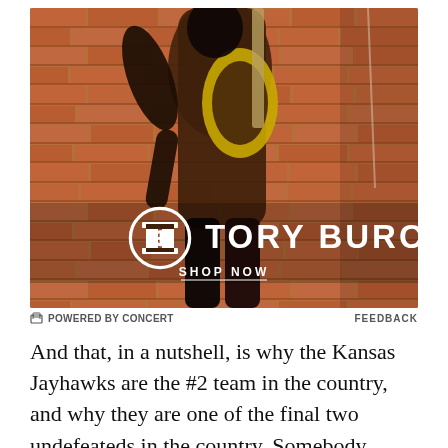[Figure (photo): Tory Burch advertisement showing a model in a brown and yellow athletic outfit against a brick wall background. The Tory Burch logo and 'SHOP NOW' button are overlaid on the image.]
⊏ POWERED BY CONCERT    FEEDBACK
And that, in a nutshell, is why the Kansas Jayhawks are the #2 team in the country, and why they are one of the final two undefeateds in the country. Somebody struggles, the rest of the team picks him up. Simple as that. Every man's job is to carry everyone else.